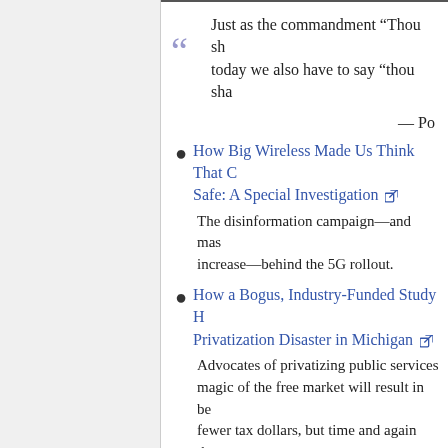Just as the commandment “Thou sh… today we also have to say “thou sha…
— Po…
How Big Wireless Made Us Think That C… Safe: A Special Investigation
The disinformation campaign—and mas… increase—behind the 5G rollout.
How a Bogus, Industry-Funded Study H… Privatization Disaster in Michigan
Advocates of privatizing public services… magic of the free market will result in be… fewer tax dollars, but time and again tho… claims run headlong into reality. Private c… to turn a profit, and that means cutting c… lower wages and often failing to provide… and services. Case in point: Officials in M… already regretting a recent move to priva…